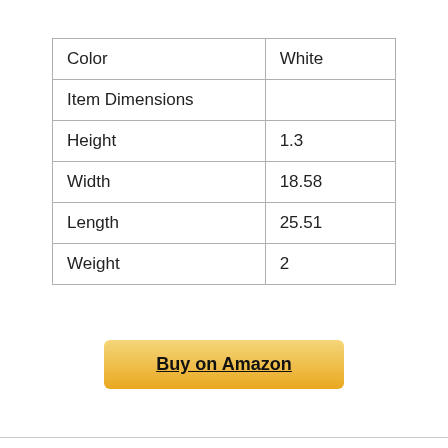| Color | White |
| Item Dimensions |  |
| Height | 1.3 |
| Width | 18.58 |
| Length | 25.51 |
| Weight | 2 |
Buy on Amazon